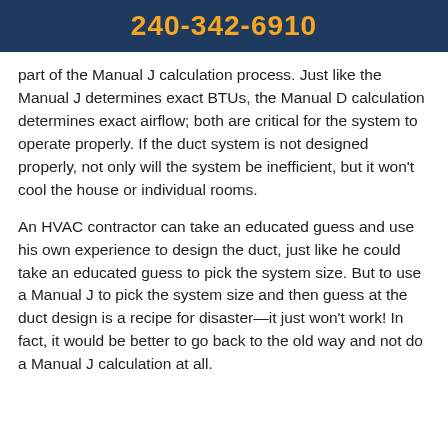240-342-6910
part of the Manual J calculation process. Just like the Manual J determines exact BTUs, the Manual D calculation determines exact airflow; both are critical for the system to operate properly. If the duct system is not designed properly, not only will the system be inefficient, but it won't cool the house or individual rooms.
An HVAC contractor can take an educated guess and use his own experience to design the duct, just like he could take an educated guess to pick the system size. But to use a Manual J to pick the system size and then guess at the duct design is a recipe for disaster—it just won't work! In fact, it would be better to go back to the old way and not do a Manual J calculation at all.